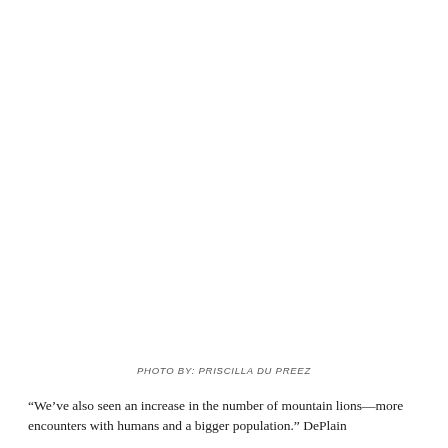[Figure (photo): Blank white area representing a photo placeholder (photo content not visible in this crop)]
PHOTO BY: PRISCILLA DU PREEZ
“We’ve also seen an increase in the number of mountain lions—more encounters with humans and a bigger population.” DePlain